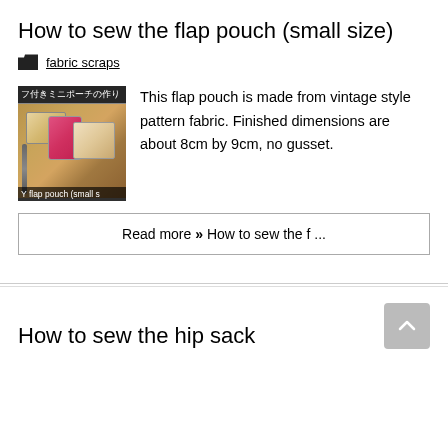How to sew the flap pouch (small size)
fabric scraps
[Figure (photo): Thumbnail image of flap pouch in vintage style pattern fabric with Japanese text label. Shows pouches including a pink one on a wooden surface. Caption reads: Y flap pouch (small s]
This flap pouch is made from vintage style pattern fabric. Finished dimensions are about 8cm by 9cm, no gusset.
Read more »  How to sew the f ...
How to sew the hip sack